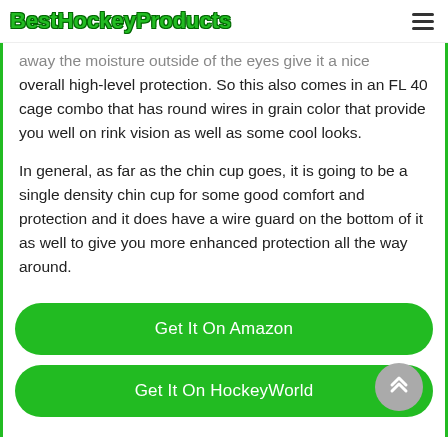BestHockeyProducts
away the moisture outside of the eyes give it a nice overall high-level protection. So this also comes in an FL 40 cage combo that has round wires in grain color that provide you well on rink vision as well as some cool looks.
In general, as far as the chin cup goes, it is going to be a single density chin cup for some good comfort and protection and it does have a wire guard on the bottom of it as well to give you more enhanced protection all the way around.
Get It On Amazon
Get It On HockeyWorld